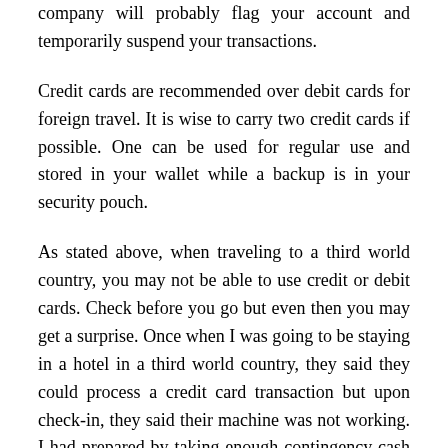company will probably flag your account and temporarily suspend your transactions.
Credit cards are recommended over debit cards for foreign travel. It is wise to carry two credit cards if possible. One can be used for regular use and stored in your wallet while a backup is in your security pouch.
As stated above, when traveling to a third world country, you may not be able to use credit or debit cards. Check before you go but even then you may get a surprise. Once when I was going to be staying in a hotel in a third world country, they said they could process a credit card transaction but upon check-in, they said their machine was not working. I had prepared by taking enough contingency cash to cover the expense but I could have gotten into a real pinch.
Security: Your passport, money, and credit cards need